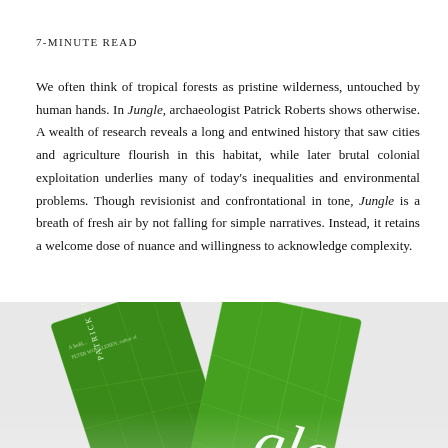7-MINUTE READ
We often think of tropical forests as pristine wilderness, untouched by human hands. In Jungle, archaeologist Patrick Roberts shows otherwise. A wealth of research reveals a long and entwined history that saw cities and agriculture flourish in this habitat, while later brutal colonial exploitation underlies many of today's inequalities and environmental problems. Though revisionist and confrontational in tone, Jungle is a breath of fresh air by not falling for simple narratives. Instead, it retains a welcome dose of nuance and willingness to acknowledge complexity.
[Figure (photo): Photo of two green textured book covers titled 'Jungle' by Patrick Roberts, partially overlapping, showing leaf-vein patterns on the cover and author name text.]